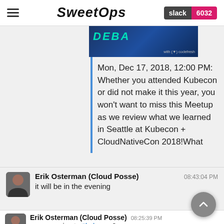SweetOps | slack 6032
[Figure (screenshot): Banner image showing 'DEBA...' with Codefresh logo on blue background]
Mon, Dec 17, 2018, 12:00 PM: Whether you attended Kubecon or did not make it this year, you won't want to miss this Meetup as we review what we learned in Seattle at Kubecon + CloudNativeCon 2018!What
Erik Osterman (Cloud Posse)  08:43:04 PM
it will be in the evening
Erik Osterman (Cloud Posse)  08:25:39 PM
anyone going to #kubecon?